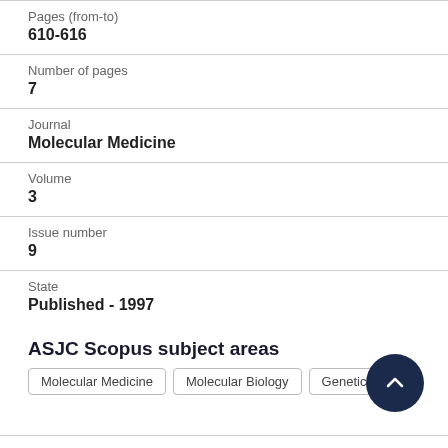Pages (from-to)
610-616
Number of pages
7
Journal
Molecular Medicine
Volume
3
Issue number
9
State
Published - 1997
ASJC Scopus subject areas
Molecular Medicine
Molecular Biology
Genetics